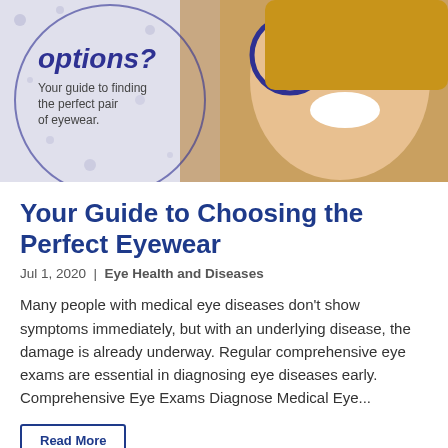[Figure (photo): Banner image showing a smiling blonde woman holding up eyeglass frames, with a circular design element containing italic text 'options?' and subtitle 'Your guide to finding the perfect pair of eyewear.' on a light purple/grey background.]
Your Guide to Choosing the Perfect Eyewear
Jul 1, 2020 | Eye Health and Diseases
Many people with medical eye diseases don't show symptoms immediately, but with an underlying disease, the damage is already underway. Regular comprehensive eye exams are essential in diagnosing eye diseases early. Comprehensive Eye Exams Diagnose Medical Eye...